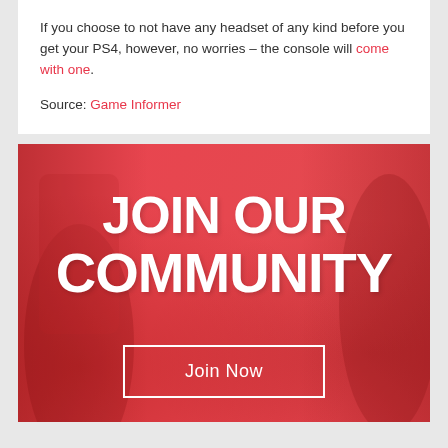If you choose to not have any headset of any kind before you get your PS4, however, no worries – the console will come with one.
Source: Game Informer
[Figure (illustration): Red-tinted banner with background figures, large bold white text reading 'JOIN OUR COMMUNITY' and a rectangular 'Join Now' button outline]